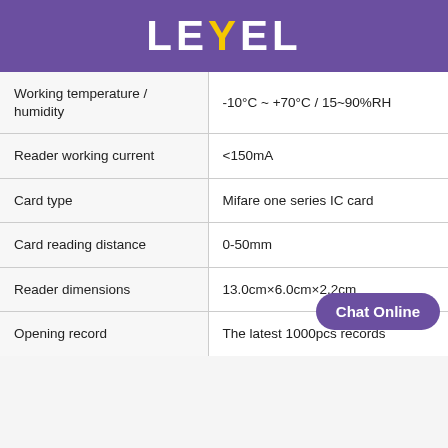LEVEL
| Property | Value |
| --- | --- |
| Working temperature / humidity | -10°C ~ +70°C / 15~90%RH |
| Reader working current | <150mA |
| Card type | Mifare one series IC card |
| Card reading distance | 0-50mm |
| Reader dimensions | 13.0cm×6.0cm×2.2cm |
| Opening record | The latest 1000pcs records |
| Maximal output | 3A |
| Workable lock type | Rim lock, electro... |